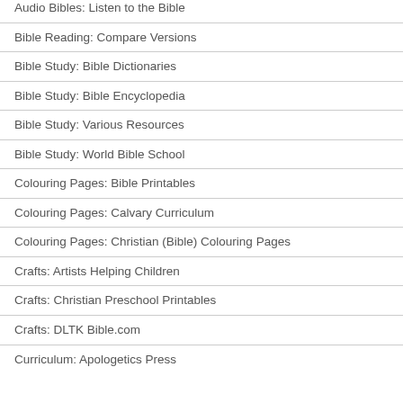Audio Bibles: Listen to the Bible
Bible Reading: Compare Versions
Bible Study: Bible Dictionaries
Bible Study: Bible Encyclopedia
Bible Study: Various Resources
Bible Study: World Bible School
Colouring Pages: Bible Printables
Colouring Pages: Calvary Curriculum
Colouring Pages: Christian (Bible) Colouring Pages
Crafts: Artists Helping Children
Crafts: Christian Preschool Printables
Crafts: DLTK Bible.com
Curriculum: Apologetics Press